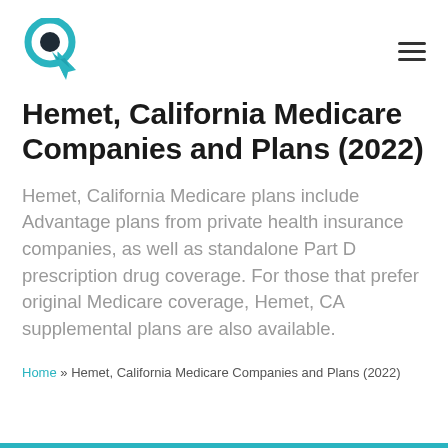Logo and navigation header
Hemet, California Medicare Companies and Plans (2022)
Hemet, California Medicare plans include Advantage plans from private health insurance companies, as well as standalone Part D prescription drug coverage. For those that prefer original Medicare coverage, Hemet, CA supplemental plans are also available.
Home » Hemet, California Medicare Companies and Plans (2022)